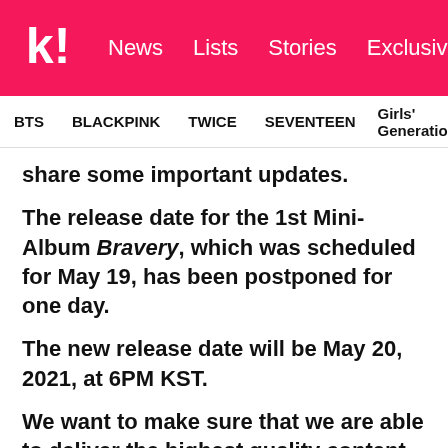Koreaboo — News | Lists | Stories | Exclusives
BTS | BLACKPINK | TWICE | SEVENTEEN | Girls' Generation
share some important updates.
The release date for the 1st Mini-Album Bravery, which was scheduled for May 19, has been postponed for one day.
The new release date will be May 20, 2021, at 6PM KST.
We want to make sure that we are able to deliver the highest quality content for our fans and made the inevitable decision to extend another day.
The new release...